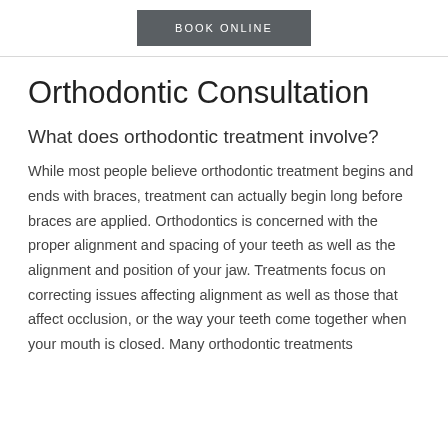BOOK ONLINE
Orthodontic Consultation
What does orthodontic treatment involve?
While most people believe orthodontic treatment begins and ends with braces, treatment can actually begin long before braces are applied. Orthodontics is concerned with the proper alignment and spacing of your teeth as well as the alignment and position of your jaw. Treatments focus on correcting issues affecting alignment as well as those that affect occlusion, or the way your teeth come together when your mouth is closed. Many orthodontic treatments